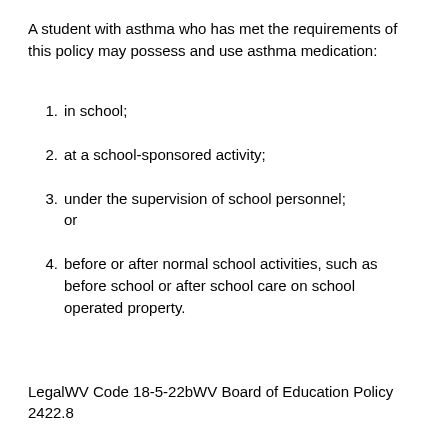A student with asthma who has met the requirements of this policy may possess and use asthma medication:
in school;
at a school-sponsored activity;
under the supervision of school personnel; or
before or after normal school activities, such as before school or after school care on school operated property.
LegalWV Code 18-5-22bWV Board of Education Policy 2422.8